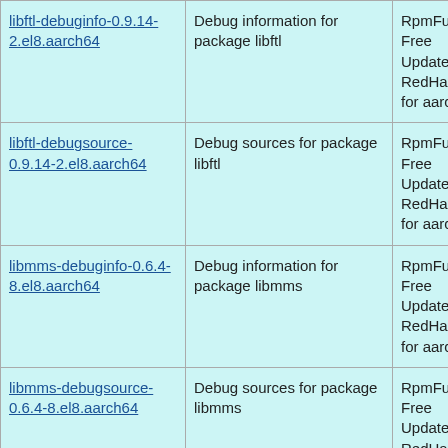| libftl-debuginfo-0.9.14-2.el8.aarch64 | Debug information for package libftl | RpmFusion Free Updates for RedHat EL 8 for aarch64 |
| libftl-debugsource-0.9.14-2.el8.aarch64 | Debug sources for package libftl | RpmFusion Free Updates for RedHat EL 8 for aarch64 |
| libmms-debuginfo-0.6.4-8.el8.aarch64 | Debug information for package libmms | RpmFusion Free Updates for RedHat EL 8 for aarch64 |
| libmms-debugsource-0.6.4-8.el8.aarch64 | Debug sources for package libmms | RpmFusion Free Updates for RedHat EL 8 for aarch64 |